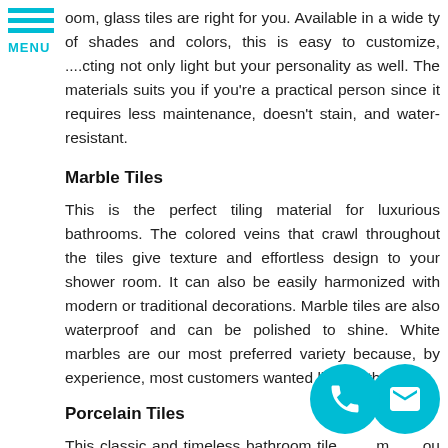room, glass tiles are right for you. Available in a wide ty of shades and colors, this is easy to customize, .cting not only light but your personality as well. The materials suits you if you're a practical person since it requires less maintenance, doesn't stain, and water-resistant.
Marble Tiles
This is the perfect tiling material for luxurious bathrooms. The colored veins that crawl throughout the tiles give texture and effortless design to your shower room. It can also be easily harmonized with modern or traditional decorations. Marble tiles are also waterproof and can be polished to shine. White marbles are our most preferred variety because, by experience, most customers wanted light bathrooms.
Porcelain Tiles
This classic and timeless bathroom tile m you ponder upon your bath that there are things at ca and